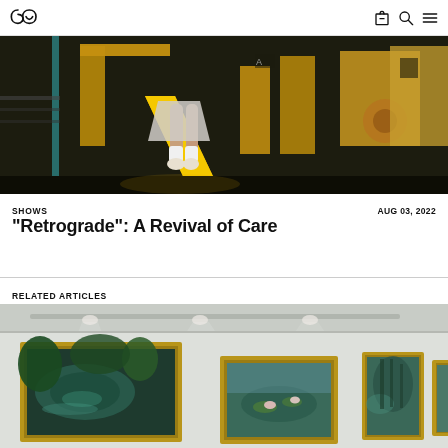Navigation bar with logo and icons
[Figure (photo): Night-time playground photo showing a child's legs on a yellow slide, with colorful playground equipment in the background illuminated by warm lights]
SHOWS
AUG 03, 2022
“Retrograde”: A Revival of Care
RELATED ARTICLES
[Figure (photo): Gallery interior showing multiple framed impressionist paintings (Monet water lilies style) hung on white walls, with track lighting above]